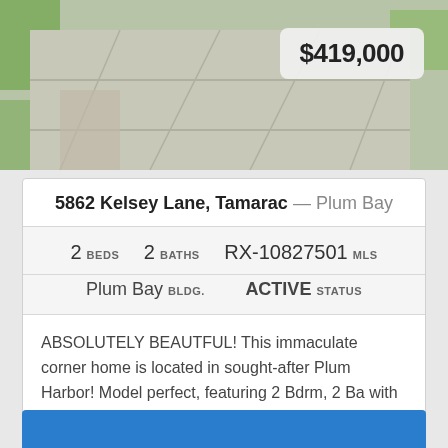[Figure (photo): Exterior photo of home showing paved walkway/patio area with green grass borders and gravel, price badge $419,000 overlaid in top right]
5862 Kelsey Lane, Tamarac — Plum Bay
2 BEDS   2 BATHS   RX-10827501 MLS
Plum Bay BLDG.   ACTIVE STATUS
ABSOLUTELY BEAUTFUL! This immaculate corner home is located in sought-after Plum Harbor! Model perfect, featuring 2 Bdrm, 2 Ba with a dream backyard oasis! Designer touch...
[Figure (logo): BeachesMLS logo with wave and palm tree icon]
[Figure (photo): Bottom partial photo, blue sky/water]